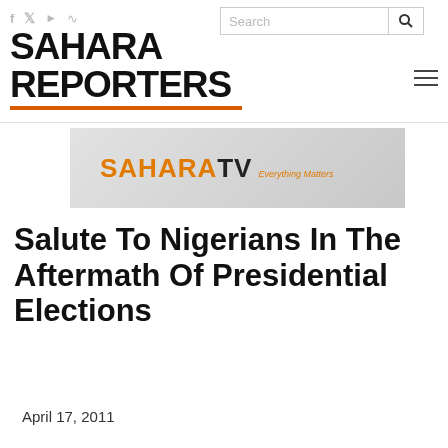SAHARA REPORTERS
[Figure (logo): SaharaTV advertisement banner with orange and dark text on grey background]
Salute To Nigerians In The Aftermath Of Presidential Elections
April 17, 2011